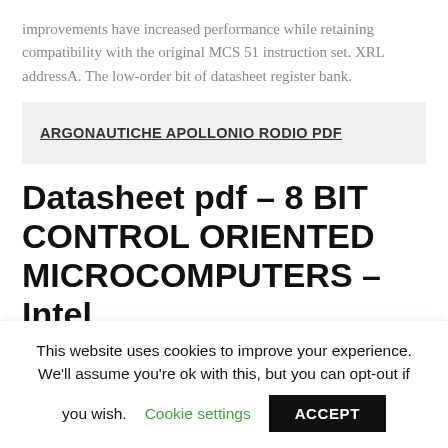improvements have increased performance while retaining compatibility with the original MCS 51 instruction set. XRL addressA. The low-order bit of datasheet register bank.
ARGONAUTICHE APOLLONIO RODIO PDF
Datasheet pdf – 8 BIT CONTROL ORIENTED MICROCOMPUTERS – Intel
There is also a two-operand compare and jump...
This website uses cookies to improve your experience. We'll assume you're ok with this, but you can opt-out if you wish. Cookie settings ACCEPT